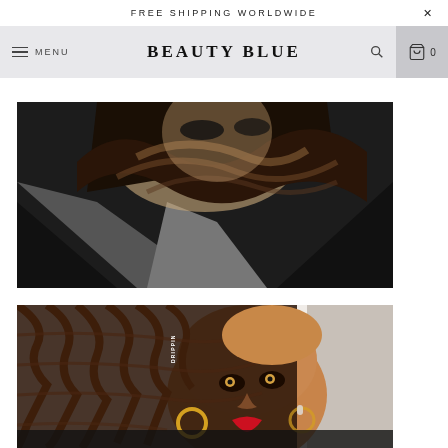FREE SHIPPING WORLDWIDE  ×
MENU  BEAUTY BLUE  🔍  0
[Figure (photo): Close-up photo of a woman with dark brown wavy/curly hair, wearing a dark blazer over a grey top, hair styled with light brown highlights and waves.]
[Figure (photo): Close-up photo of a young woman with box braids decorated with a 'DRIPPIN' hair accessory, wearing gold hoop earrings, with red lipstick, in front of a light background.]